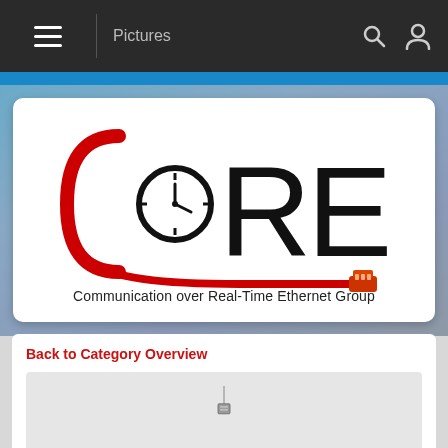Pictures
[Figure (logo): CoRE logo — Communication over Real-Time Ethernet Group. Large stylized letters C, o, R, E with a red bracket-like C shape, a clock face inside the lowercase o, and a red ethernet cable beneath. Subtitle: Communication over Real-Time Ethernet Group]
Back to Category Overview
[Figure (photo): Partially visible photo showing a small electronic component or device in a light gray/white environment]